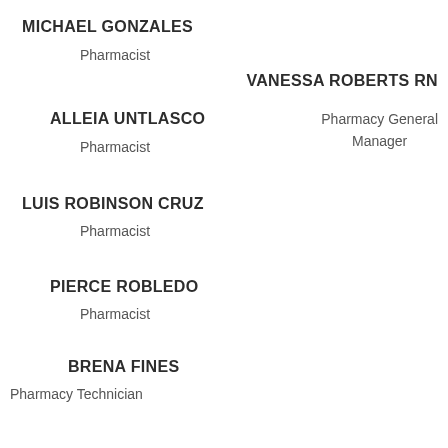MICHAEL GONZALES
Pharmacist
VANESSA ROBERTS RN
ALLEIA UNTLASCO
Pharmacist
Pharmacy General Manager
LUIS ROBINSON CRUZ
Pharmacist
PIERCE ROBLEDO
Pharmacist
BRENA FINES
Pharmacy Technician